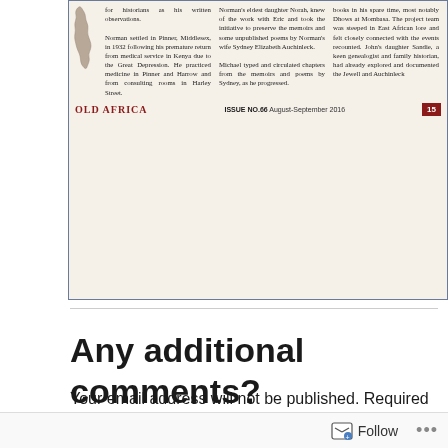[Figure (screenshot): Scanned magazine page excerpt from 'Old Africa' Issue No.66, August-September 2016, page 15, showing three columns of text about Norman and related historical content, with a small map image on the left side.]
Any additional comments?
Your email address will not be published. Required fields are marked *
Comment *
Follow ...